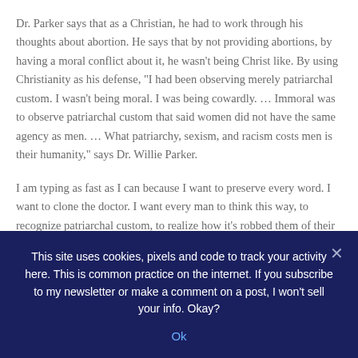Dr. Parker says that as a Christian, he had to work through his thoughts about abortion. He says that by not providing abortions, by having a moral conflict about it, he wasn't being Christ like. By using Christianity as his defense, “I had been observing merely patriarchal custom. I wasn’t being moral. I was being cowardly. … Immoral was to observe patriarchal custom that said women did not have the same agency as men. … What patriarchy, sexism, and racism costs men is their humanity,” says Dr. Willie Parker.
I am typing as fast as I can because I want to preserve every word. I want to clone the doctor. I want every man to think this way, to recognize patriarchal custom, to realize how it’s robbed them of their humanity.
A black woman to my left has waved her hand, slapped the air,
This site uses cookies, pixels and code to track your activity here. This is common practice on the internet. If you subscribe to my newsletter or make a comment on a post, I won't sell your info. Okay?